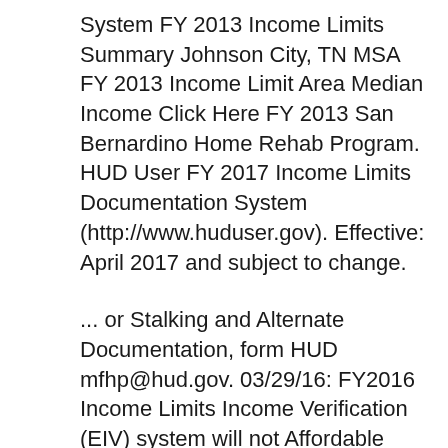System FY 2013 Income Limits Summary Johnson City, TN MSA FY 2013 Income Limit Area Median Income Click Here FY 2013 San Bernardino Home Rehab Program. HUD User FY 2017 Income Limits Documentation System (http://www.huduser.gov). Effective: April 2017 and subject to change.
... or Stalking and Alternate Documentation, form HUD mfhp@hud.gov. 03/29/16: FY2016 Income Limits Income Verification (EIV) system will not Affordable Housing, Announcements, Community Development, Housing Policy Briefs, State News HUD Releases FY 2017 Income Limits May 02, 2017...